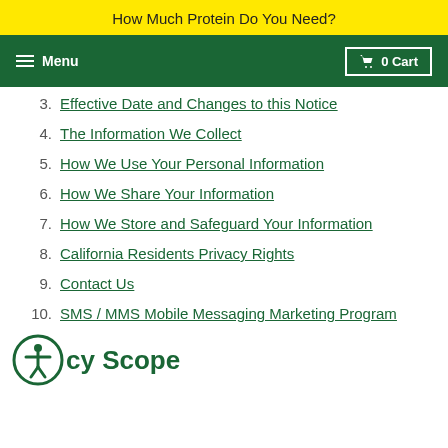How Much Protein Do You Need?
≡ Menu   🛒 0 Cart
3. Effective Date and Changes to this Notice
4. The Information We Collect
5. How We Use Your Personal Information
6. How We Share Your Information
7. How We Store and Safeguard Your Information
8. California Residents Privacy Rights
9. Contact Us
10. SMS / MMS Mobile Messaging Marketing Program
cy Scope